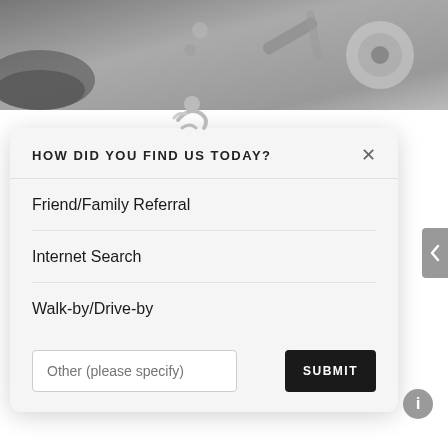[Figure (photo): Background photo showing mechanical/automotive parts including bolts, tools, and a reel on a dark surface]
[Figure (logo): Small grey logo icon above the modal card]
HOW DID YOU FIND US TODAY?
Friend/Family Referral
Internet Search
Walk-by/Drive-by
Other (please specify)
SUBMIT